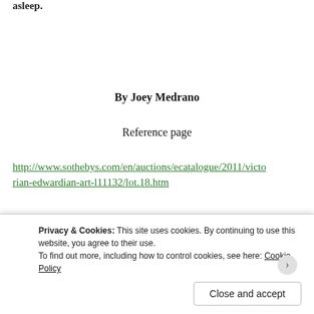asleep.
By Joey Medrano
Reference page
http://www.sothebys.com/en/auctions/ecatalogue/2011/victorian-edwardian-art-l11132/lot.18.htm
Flaming June (1895), article on The Independent dated 25 April 2
Privacy & Cookies: This site uses cookies. By continuing to use this website, you agree to their use. To find out more, including how to control cookies, see here: Cookie Policy
Close and accept